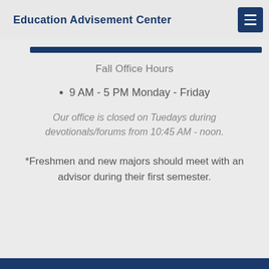Education Advisement Center
Fall Office Hours
9 AM - 5 PM Monday - Friday
Our office is closed on Tuedays during devotionals/forums from 10:45 AM - noon.
*Freshmen and new majors should meet with an advisor during their first semester.